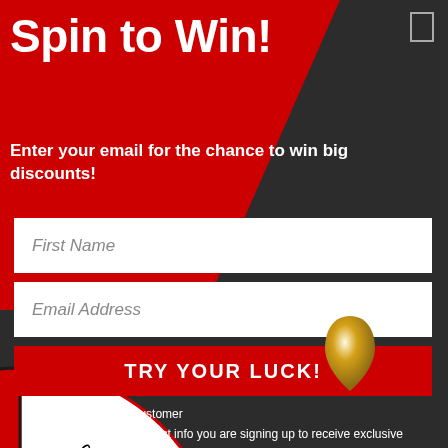Spin to Win!
Enter your email for the chance to win big discounts!
First Name
Email Address
TRY YOUR LUCK!
Only one spin per customer
By providing your contact info you are signing up to receive exclusive offers and news.
[Figure (illustration): A prize wheel (spin wheel) partially visible at the bottom of the image, showing segments with text including '0 DAYS', 'L TABS', and 'rvival', 'abs'. A gold teardrop-shaped pin/pointer is visible above the wheel center.]